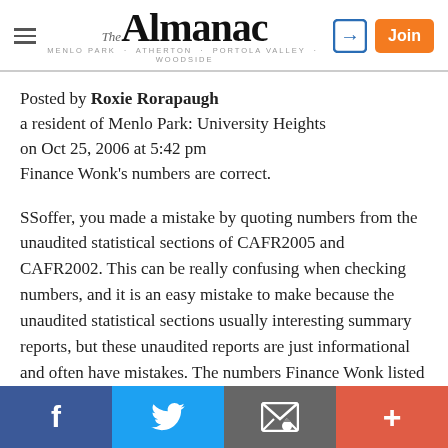The Almanac | Menlo Park · Atherton · Portola Valley · Woodside
Posted by Roxie Rorapaugh
a resident of Menlo Park: University Heights
on Oct 25, 2006 at 5:42 pm
Finance Wonk's numbers are correct.
SSoffer, you made a mistake by quoting numbers from the unaudited statistical sections of CAFR2005 and CAFR2002. This can be really confusing when checking numbers, and it is an easy mistake to make because the unaudited statistical sections usually interesting summary reports, but these unaudited reports are just informational and often have mistakes. The numbers Finance Wonk listed are the actual numbers from the audited financial
f  [Twitter]  [Email]  +